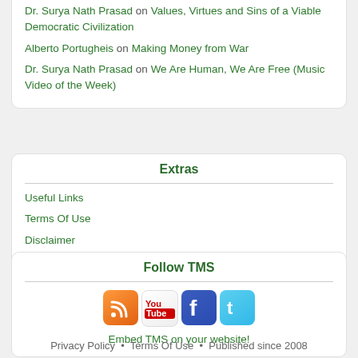Dr. Surya Nath Prasad on Values, Virtues and Sins of a Viable Democratic Civilization
Alberto Portugheis on Making Money from War
Dr. Surya Nath Prasad on We Are Human, We Are Free (Music Video of the Week)
Extras
Useful Links
Terms Of Use
Disclaimer
Privacy Policy
Follow TMS
[Figure (infographic): Social media icons: RSS feed, YouTube, Facebook, Twitter]
Embed TMS on your website!
Privacy Policy • Terms Of Use • Published since 2008